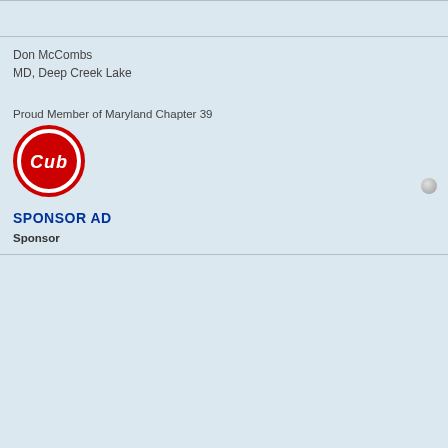Don McCombs
MD, Deep Creek Lake
Proud Member of Maryland Chapter 39
[Figure (logo): Chicago Cubs Cub Scout style red circular logo with 'Cub' text in white cursive on red background with red and white circular border]
SPONSOR AD
Sponsor